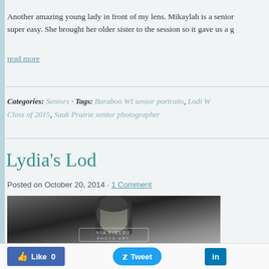Another amazing young lady in front of my lens. Mikaylah is a senior super easy. She brought her older sister to the session so it gave us a g
read more
Categories: Seniors · Tags: Baraboo WI senior portraits, Lodi W... Class of 2015, Sauk Prairie senior photographer
Lydia's Lod
Posted on October 20, 2014 · 1 Comment
[Figure (photo): Black and white portrait photo of a young woman smiling, with NIA FIELDS PHOTO ART watermark]
Like 0   Tweet   in